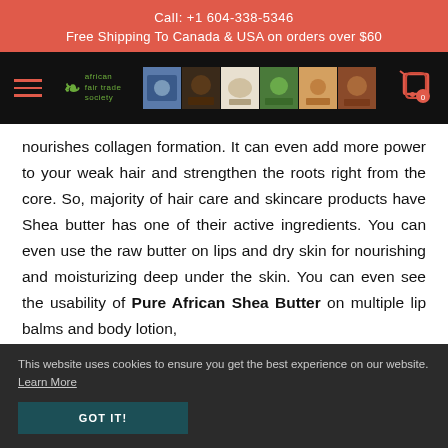Call: +1 604-338-5346
Free Shipping To Canada & USA on orders over $60
[Figure (screenshot): Navigation bar with hamburger menu, African Fair Trade Society logo, photo strip of product/people images, and shopping cart icon with badge showing 0]
nourishes collagen formation. It can even add more power to your weak hair and strengthen the roots right from the core. So, majority of hair care and skincare products have Shea butter has one of their active ingredients. You can even use the raw butter on lips and dry skin for nourishing and moisturizing deep under the skin. You can even see the usability of Pure African Shea Butter on multiple lip balms and body lotion,
This website uses cookies to ensure you get the best experience on our website. Learn More
GOT IT!